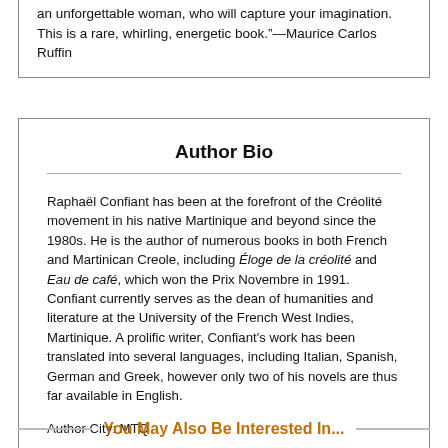an unforgettable woman, who will capture your imagination. This is a rare, whirling, energetic book.”—Maurice Carlos Ruffin
Author Bio
Raphaël Confiant has been at the forefront of the Créolité movement in his native Martinique and beyond since the 1980s. He is the author of numerous books in both French and Martinican Creole, including Éloge de la créolité and Eau de café, which won the Prix Novembre in 1991. Confiant currently serves as the dean of humanities and literature at the University of the French West Indies, Martinique. A prolific writer, Confiant's work has been translated into several languages, including Italian, Spanish, German and Greek, however only two of his novels are thus far available in English.
Author City: MTQ
You May Also Be Interested In...